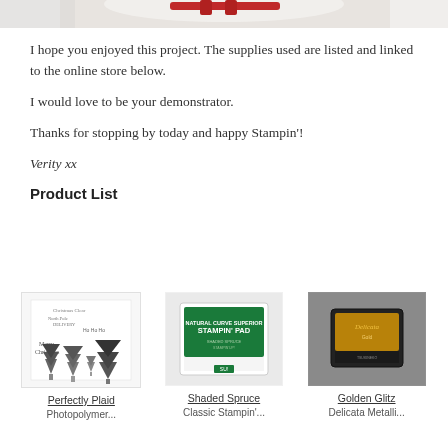[Figure (photo): Partial view of a crafting project with red ribbon/paper on white background, cropped at top of page]
I hope you enjoyed this project. The supplies used are listed and linked to the online store below.
I would love to be your demonstrator.
Thanks for stopping by today and happy Stampin'!
Verity xx
Product List
[Figure (photo): Perfectly Plaid stamp set product image showing Christmas stamps with trees and text]
[Figure (photo): Shaded Spruce Classic Stampin' Pad - green ink pad product image]
[Figure (photo): Golden Glitz Delicata Metallic ink pad - gold colored small ink pad on gray background]
Perfectly Plaid
Shaded Spruce
Golden Glitz
Photopolymer...
Classic Stampin'...
Delicata Metalli...